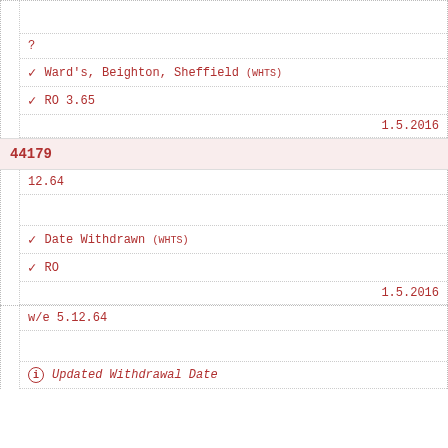?
Ward's, Beighton, Sheffield (WHTS)
RO 3.65
1.5.2016
44179
12.64
Date Withdrawn (WHTS)
RO
1.5.2016
w/e 5.12.64
Updated Withdrawal Date